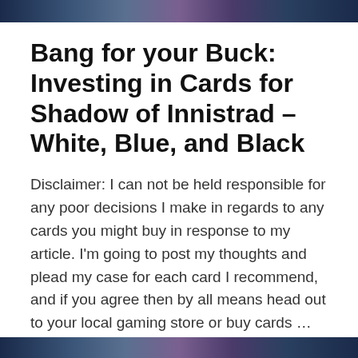[Figure (photo): Dark fantasy-themed header image with blue and purple tones at the top of the page]
Bang for your Buck: Investing in Cards for Shadow of Innistrad – White, Blue, and Black
Disclaimer: I can not be held responsible for any poor decisions I make in regards to any cards you might buy in response to my article. I'm going to post my thoughts and plead my case for each card I recommend, and if you agree then by all means head out to your local gaming store or buy cards … Continue reading →
April 14, 2016
Leave a Reply
[Figure (photo): Dark fantasy-themed image at the bottom of the page with blue and purple tones]